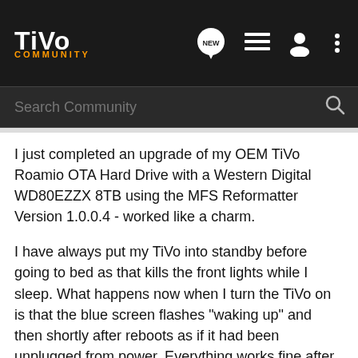TiVo Community
Search Community
I just completed an upgrade of my OEM TiVo Roamio OTA Hard Drive with a Western Digital WD80EZZX 8TB using the MFS Reformatter Version 1.0.0.4 - worked like a charm.
I have always put my TiVo into standby before going to bed as that kills the front lights while I sleep. What happens now when I turn the TiVo on is that the blue screen flashes "waking up" and then shortly after reboots as if it had been unplugged from power. Everything works fine after that, no issues to report at all.
I listened closely to the new hard drive before waking up the TiVo and it sounds like it is coming out of sleep mode as I can hear it start to spin up when I press the TiVo button on the remote. While it starts to spin up during the "waking up" screen